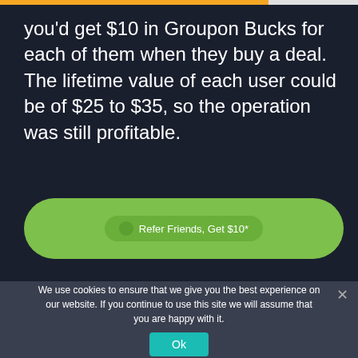you'd get $10 in Groupon Bucks for each of them when they buy a deal. The lifetime value of each user could be of $25 to $35, so the operation was still profitable.
[Figure (screenshot): Green rounded button with inner button labeled 'Refer Friends, Get $10*']
We use cookies to ensure that we give you the best experience on our website. If you continue to use this site we will assume that you are happy with it.